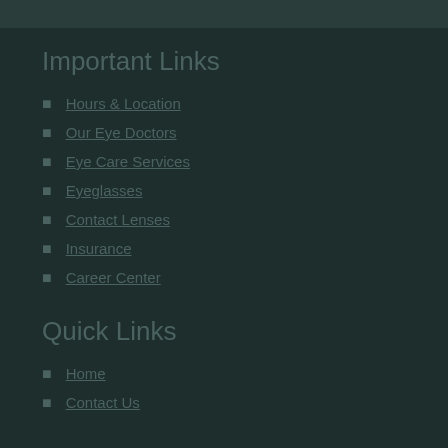Important Links
Hours & Location
Our Eye Doctors
Eye Care Services
Eyeglasses
Contact Lenses
Insurance
Career Center
Quick Links
Home
Contact Us